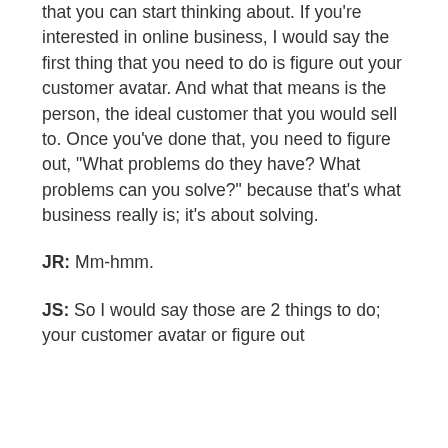that you can start thinking about. If you're interested in online business, I would say the first thing that you need to do is figure out your customer avatar. And what that means is the person, the ideal customer that you would sell to. Once you've done that, you need to figure out, “What problems do they have? What problems can you solve?” because that's what business really is; it's about solving.
JR: Mm-hmm.
JS: So I would say those are 2 things to do; your customer avatar or figure out